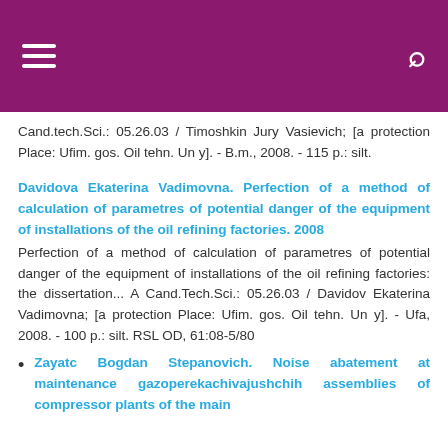Cand.tech.Sci.: 05.26.03 / Timoshkin Jury Vasievich; [a protection Place: Ufim. gos. Oil tehn. Un y]. - B.m., 2008. - 115 p.: silt.
Davidova Ekaterina Vadimovna. Perfection of a method of calculation of parametres of potential danger of the equipment of installations of the oil refining factories. 2008
Perfection of a method of calculation of parametres of potential danger of the equipment of installations of the oil refining factories: the dissertation... A Cand.Tech.Sci.: 05.26.03 / Davidov Ekaterina Vadimovna; [a protection Place: Ufim. gos. Oil tehn. Un y]. - Ufa, 2008. - 100 p.: silt. RSL OD, 61:08-5/80
Zayatc Bogdan Stepanovich. Noise abatement at maintenance gazoperekachivajushchih assemblies of compressor plants of the main